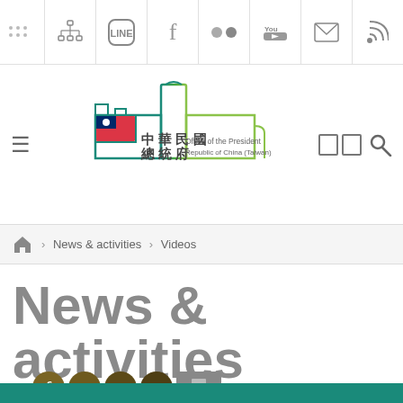Office of the President, Republic of China (Taiwan) — top navigation bar with social icons
[Figure (logo): Office of the President Republic of China (Taiwan) official logo — stylized building outline in teal/green gradient with Taiwan flag, Chinese text 中華民國總統府 and English text 'Office of the President Republic of China (Taiwan)']
🏠 > News & activities > Videos
News & activities